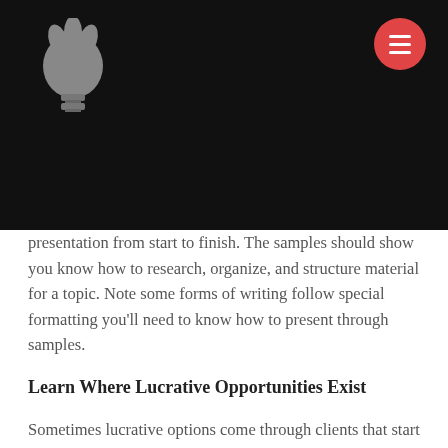[Figure (logo): Gray lightbulb logo icon on black header bar]
[Figure (other): Red circular menu button with three white horizontal lines (hamburger icon)]
presentation from start to finish. The samples should show you know how to research, organize, and structure material for a topic. Note some forms of writing follow special formatting you'll need to know how to present through samples.
Learn Where Lucrative Opportunities Exist
Sometimes lucrative options come through clients that start paying smaller rates. If you like learning about the past through in-depth research you may be interested in history writing jobs. Companies hiring multiple writers likely have larger budgets and able to accommodate writers who present quality content. Small and large business owners may have a budget for written content. You can also check local businesses and offer services such as a monthly